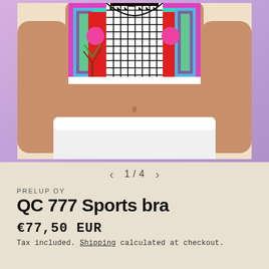[Figure (photo): Model wearing a colorful QC 777 sports bra with geometric tribal/African print pattern in red, teal, black and white, paired with white shorts. Torso-only view showing the crop top sports bra and midriff.]
1 / 4
PRELUP OY
QC 777 Sports bra
€77,50 EUR
Tax included. Shipping calculated at checkout.